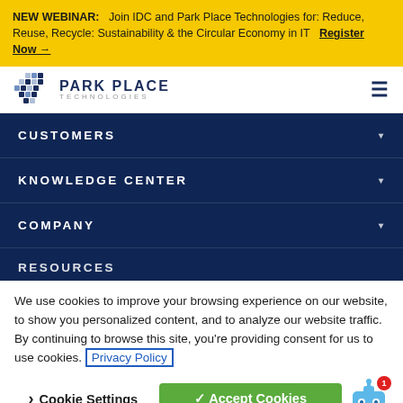NEW WEBINAR: Join IDC and Park Place Technologies for: Reduce, Reuse, Recycle: Sustainability & the Circular Economy in IT Register Now →
[Figure (logo): Park Place Technologies logo with blue diamond pixel icon and company name]
CUSTOMERS
KNOWLEDGE CENTER
COMPANY
RESOURCES
We use cookies to improve your browsing experience on our website, to show you personalized content, and to analyze our website traffic. By continuing to browse this site, you're providing consent for us to use cookies. Privacy Policy
› Cookie Settings   ✓ Accept Cookies